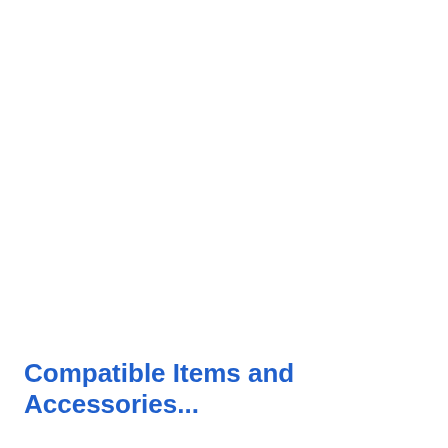Compatible Items and Accessories...